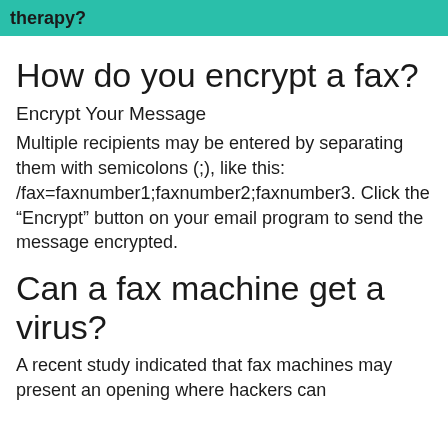therapy?
How do you encrypt a fax?
Encrypt Your Message
Multiple recipients may be entered by separating them with semicolons (;), like this: /fax=faxnumber1;faxnumber2;faxnumber3. Click the “Encrypt” button on your email program to send the message encrypted.
Can a fax machine get a virus?
A recent study indicated that fax machines may present an opening where hackers can